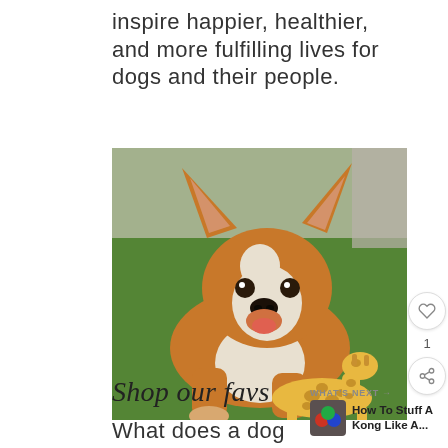inspire happier, healthier, and more fulfilling lives for dogs and their people.
[Figure (photo): A Corgi dog lying on a green rug, chewing on a giraffe-patterned stuffed toy]
Shop our favs
WHAT'S NEXT → How To Stuff A Kong Like A...
What does a dog